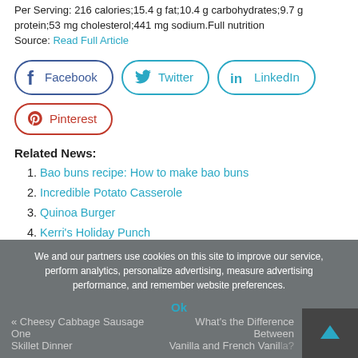Per Serving: 216 calories;15.4 g fat;10.4 g carbohydrates;9.7 g protein;53 mg cholesterol;441 mg sodium.Full nutrition Source: Read Full Article
[Figure (infographic): Social media share buttons: Facebook, Twitter, LinkedIn, Pinterest]
Related News:
1. Bao buns recipe: How to make bao buns
2. Incredible Potato Casserole
3. Quinoa Burger
4. Kerri's Holiday Punch
5. Funfetti Cereal Was Made for Times Like These—and It's Coming to a Store Near You
We and our partners use cookies on this site to improve our service, perform analytics, personalize advertising, measure advertising performance, and remember website preferences. Ok | « Cheesy Cabbage Sausage One Skillet Dinner | What's the Difference Between Vanilla and French Vanilla?